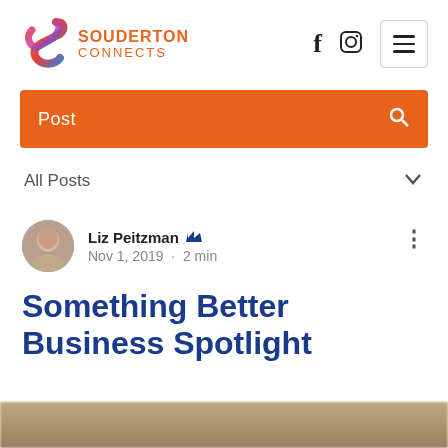Souderton Connects
Post
All Posts
Liz Peitzman  Nov 1, 2019 · 2 min
Something Better Business Spotlight
[Figure (photo): Partial blurred image at the bottom of the page]